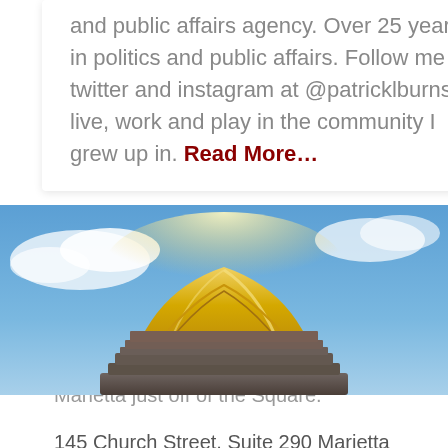and public affairs agency. Over 25 years in politics and public affairs. Follow me on twitter and instagram at @patricklburns. I live, work and play in the community I grew up in. Read More…
[Figure (photo): Photo of a golden dome of a government/civic building against a blue sky with clouds. The dome is ornate with gold coloring and stone detailing below it.]
OUR LOCATION
We're located in historic downtown Marietta just off of the Square.
145 Church Street, Suite 290 Marietta